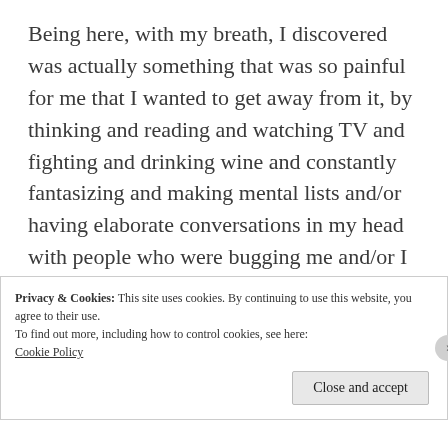Being here, with my breath, I discovered was actually something that was so painful for me that I wanted to get away from it, by thinking and reading and watching TV and fighting and drinking wine and constantly fantasizing and making mental lists and/or having elaborate conversations in my head with people who were bugging me and/or I liked. The weird thing (apart from the revelation that right here
Privacy & Cookies: This site uses cookies. By continuing to use this website, you agree to their use.
To find out more, including how to control cookies, see here:
Cookie Policy
Close and accept